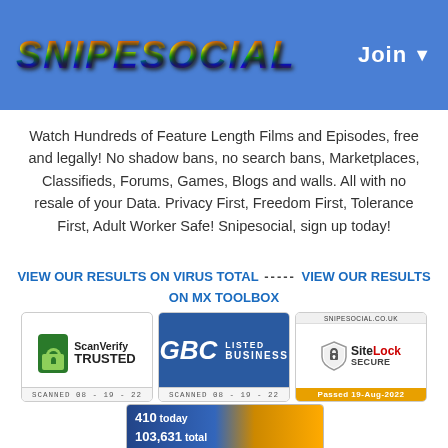SNIPESOCIAL — Join
Watch Hundreds of Feature Length Films and Episodes, free and legally! No shadow bans, no search bans, Marketplaces, Classifieds, Forums, Games, Blogs and walls. All with no resale of your Data. Privacy First, Freedom First, Tolerance First, Adult Worker Safe! Snipesocial, sign up today!
VIEW OUR RESULTS ON VIRUS TOTAL ----- VIEW OUR RESULTS ON MX TOOLBOX
[Figure (logo): Three trust badges: ScanVerify TRUSTED (SCANNED 08-19-22), GBC LISTED BUSINESS (SCANNED 08-19-22), and SNIPESOCIAL.CO.UK SiteLock SECURE (Passed 19-Aug-2022)]
[Figure (infographic): Rating widget showing 410 today, 103,631 total visits, 5-star rating display, vote now, 1 user review, Powered by RelmaxTop]